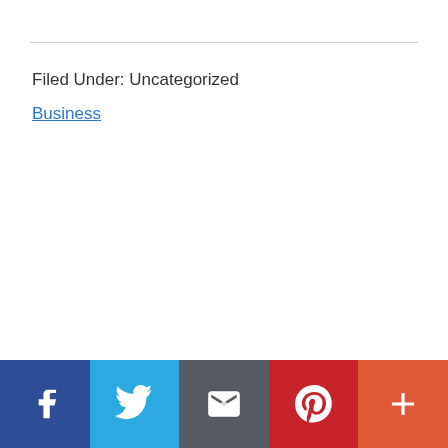Filed Under: Uncategorized
Business
Social share bar: Facebook, Twitter, Email, Pinterest, More